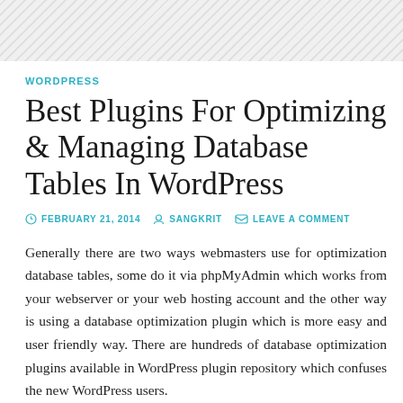WORDPRESS
Best Plugins For Optimizing & Managing Database Tables In WordPress
© FEBRUARY 21, 2014   ✦ SANGKRIT   ✉ LEAVE A COMMENT
Generally there are two ways webmasters use for optimization database tables, some do it via phpMyAdmin which works from your webserver or your web hosting account and the other way is using a database optimization plugin which is more easy and user friendly way. There are hundreds of database optimization plugins available in WordPress plugin repository which confuses the new WordPress users.